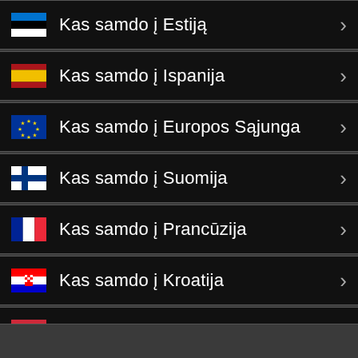Kas samdo į Estiją
Kas samdo į Ispanija
Kas samdo į Europos Sąjunga
Kas samdo į Suomija
Kas samdo į Prancūzija
Kas samdo į Kroatija
Kas samdo į Vengrija